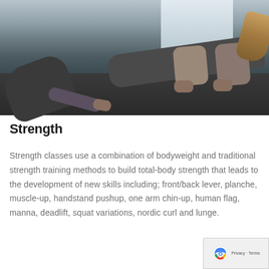[Figure (photo): Two people performing plank/push-up exercises on a dark floor near a window. One person is kneeling on the left, the other is in a full plank position on the right with long hair hanging down.]
Strength
Strength classes use a combination of bodyweight and traditional strength training methods to build total-body strength that leads to the development of new skills including; front/back lever, planche, muscle-up, handstand pushup, one arm chin-up, human flag, manna, deadlift, squat variations, nordic curl and lunge.